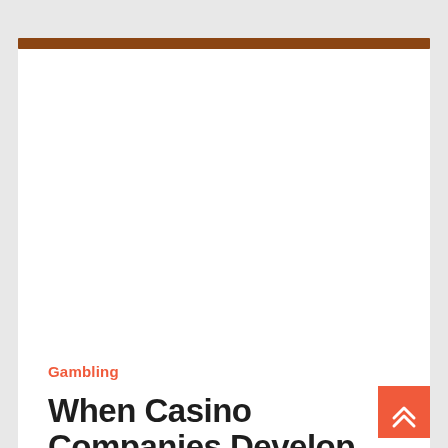Gambling
When Casino Companies Develop